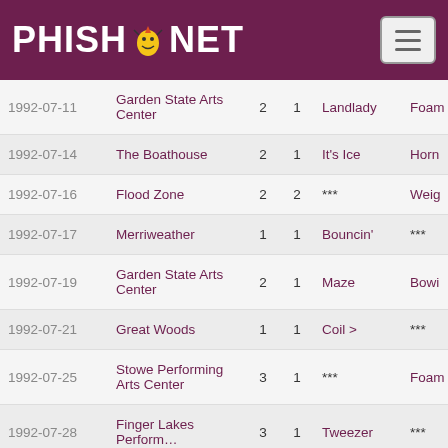PHISH.NET
| Date | Venue | Set | Pos | Song1 | Song2 |
| --- | --- | --- | --- | --- | --- |
| 1992-07-11 | Garden State Arts Center | 2 | 1 | Landlady | Foam… |
| 1992-07-14 | The Boathouse | 2 | 1 | It's Ice | Horn… |
| 1992-07-16 | Flood Zone | 2 | 2 | *** | Weig… |
| 1992-07-17 | Merriweather | 1 | 1 | Bouncin' | *** |
| 1992-07-19 | Garden State Arts Center | 2 | 1 | Maze | Bowi… |
| 1992-07-21 | Great Woods | 1 | 1 | Coil > | *** |
| 1992-07-25 | Stowe Performing Arts Center | 3 | 1 | *** | Foam… |
| 1992-07-28 | Finger Lakes Performing… | 3 | 1 | Tweezer | *** |